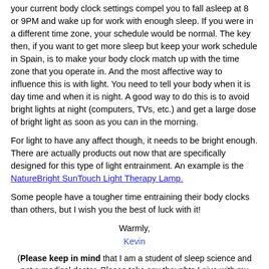your current body clock settings compel you to fall asleep at 8 or 9PM and wake up for work with enough sleep. If you were in a different time zone, your schedule would be normal. The key then, if you want to get more sleep but keep your work schedule in Spain, is to make your body clock match up with the time zone that you operate in. And the most affective way to influence this is with light. You need to tell your body when it is day time and when it is night. A good way to do this is to avoid bright lights at night (computers, TVs, etc.) and get a large dose of bright light as soon as you can in the morning.
For light to have any affect though, it needs to be bright enough. There are actually products out now that are specifically designed for this type of light entrainment. An example is the NatureBright SunTouch Light Therapy Lamp.
Some people have a tougher time entraining their body clocks than others, but I wish you the best of luck with it!
Warmly,
Kevin
(Please keep in mind that I am a student of sleep science and not a medical doctor. Please take any thoughts I give with my background in mind.)
Click here to post comments
Join in and write your own page! It's easy to do. How? Simply click here to return to Thoughts On Delayed Sleep Phase Syndrome